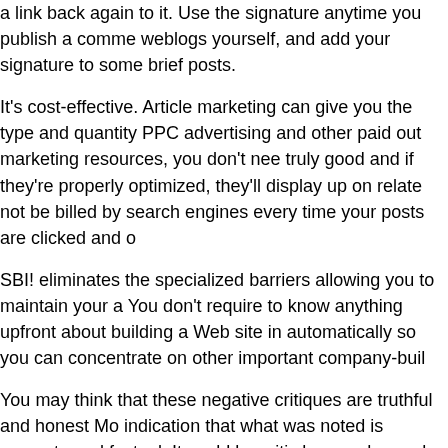a link back again to it. Use the signature anytime you publish a comme weblogs yourself, and add your signature to some brief posts.
It's cost-effective. Article marketing can give you the type and quantity PPC advertising and other paid out marketing resources, you don't nee truly good and if they're properly optimized, they'll display up on relate not be billed by search engines every time your posts are clicked and o
SBI! eliminates the specialized barriers allowing you to maintain your a You don't require to know anything upfront about building a Web site in automatically so you can concentrate on other important company-buil
You may think that these negative critiques are truthful and honest Mo indication that what was noted is accurate and factual. It could be critic been enhanced. So be sure to verify when the review was penned.
For occasion, my post on Neuromarketing got picked up pretty rapidly also have a tendency to cool off quickly. So while they might get a lot o is over.
That's a fantastic query! In the Money Robot Submitter Diagram arena